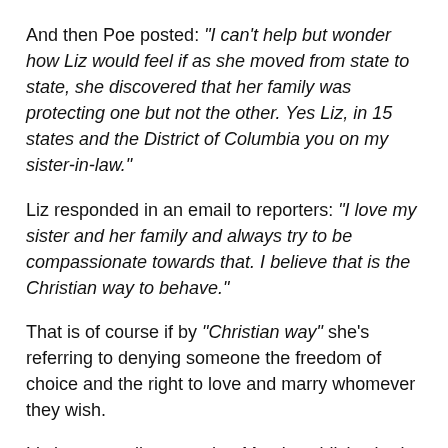And then Poe posted: "I can't help but wonder how Liz would feel if as she moved from state to state, she discovered that her family was protecting one but not the other. Yes Liz, in 15 states and the District of Columbia you on my sister-in-law."
Liz responded in an email to reporters: "I love my sister and her family and always try to be compassionate towards that. I believe that is the Christian way to behave."
That is of course if by "Christian way" she's referring to denying someone the freedom of choice and the right to love and marry whomever they wish.
Liz is reportedly angry that Mary's publicly aired their dirty laundry, charging her with hypocrisy because she had supported the re-election campaign of George W. Bush, who opposed gay marriage and supported a constitutional amendment banning it.
Bu Mary Cheney is smart. She's taking a heated, emotional family rift which her sister wishes would remain private and